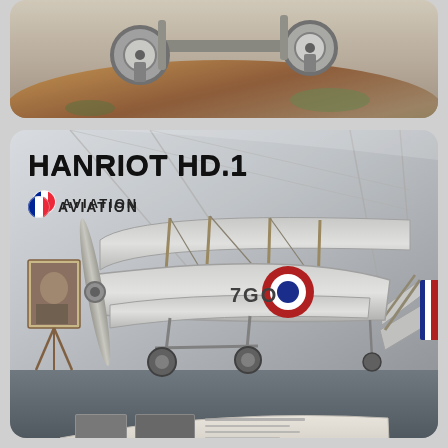[Figure (photo): Top card: close-up photo of a small model vehicle or aircraft landing gear on a diorama base with reddish-brown ground and green foliage]
[Figure (photo): Bottom card: museum display photo of a Hanriot HD.1 biplane with French roundel markings '7GO', displayed inside a hangar. An easel with a painting is visible to the left, and an information placard is in the foreground. Overlaid text reads 'HANRIOT HD.1' and 'AVIATION' with a French flag emoji.]
HANRIOT HD.1
🇫🇷 AVIATION